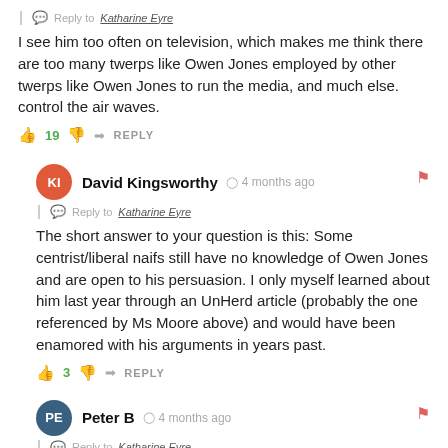Reply to Katharine Eyre
I see him too often on television, which makes me think there are too many twerps like Owen Jones employed by other twerps like Owen Jones to run the media, and much else. control the air waves.
👍 19 👎 ➜ REPLY
David Kingsworthy  4 months ago
Reply to Katharine Eyre
The short answer to your question is this: Some centrist/liberal naifs still have no knowledge of Owen Jones and are open to his persuasion. I only myself learned about him last year through an UnHerd article (probably the one referenced by Ms Moore above) and would have been enamored with his arguments in years past.
👍 3 👎 ➜ REPLY
Peter B  4 months ago
Reply to Katharine Eyre